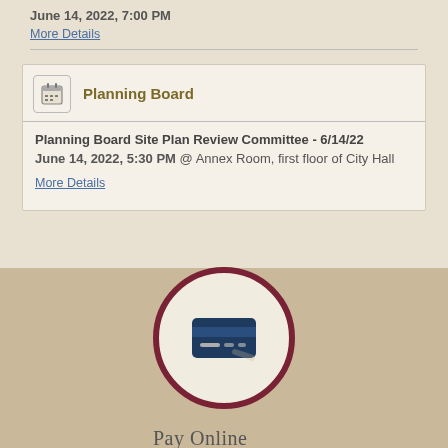June 14, 2022, 7:00 PM
More Details
Planning Board
Planning Board Site Plan Review Committee - 6/14/22
June 14, 2022, 5:30 PM @ Annex Room, first floor of City Hall
More Details
[Figure (illustration): Credit card icon inside a circular button with dark red border on tan background, labeled Pay Online]